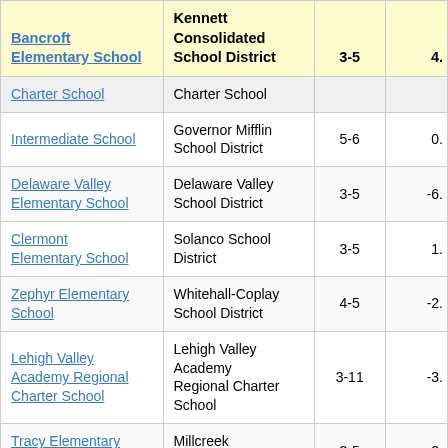| Bancroft Elementary School | Kennett Consolidated School District | 3-5 | 4. |
| --- | --- | --- | --- |
| Charter School (truncated) | Charter School |  |  |
| Intermediate School | Governor Mifflin School District | 5-6 | 0. |
| Delaware Valley Elementary School | Delaware Valley School District | 3-5 | -6. |
| Clermont Elementary School | Solanco School District | 3-5 | 1. |
| Zephyr Elementary School | Whitehall-Coplay School District | 4-5 | -2. |
| Lehigh Valley Academy Regional Charter School | Lehigh Valley Academy Regional Charter School | 3-11 | -3. |
| Tracy Elementary School | Millcreek Township School | 3-5 | -2. |